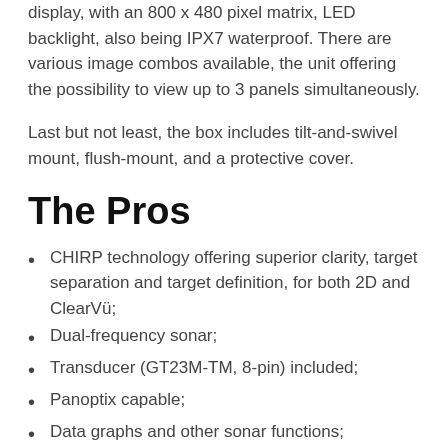display, with an 800 x 480 pixel matrix, LED backlight, also being IPX7 waterproof. There are various image combos available, the unit offering the possibility to view up to 3 panels simultaneously.
Last but not least, the box includes tilt-and-swivel mount, flush-mount, and a protective cover.
The Pros
CHIRP technology offering superior clarity, target separation and target definition, for both 2D and ClearVü;
Dual-frequency sonar;
Transducer (GT23M-TM, 8-pin) included;
Panoptix capable;
Data graphs and other sonar functions;
Sonar recording and rewind;